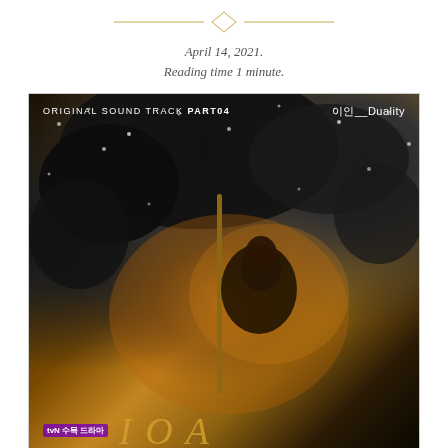[Figure (other): Decorative horizontal divider with diamond/rhombus shape in gold/tan color in the center, flanked by horizontal lines]
April 14, 2021.
Reading time 1 minute.
[Figure (photo): Album cover art for Korean drama OST. Text reads 'ORIGINAL SOUND TRACK PART04' on top left and '이인__Duality' on top right. A person stands holding an umbrella against a dark, moody background with warm orange-gold tones and black ink/smoke swirls. Snow appears to be falling. TVN 수목드라마 logo at bottom left. Bottom shows partial text of the drama title.]